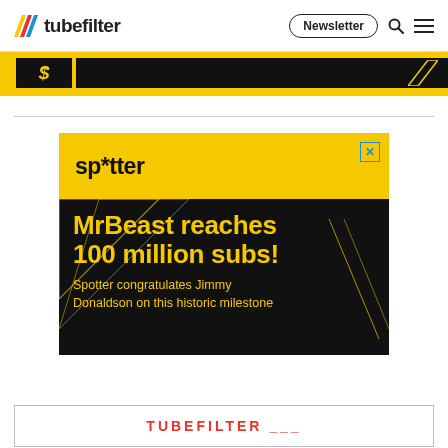tubefilter | Newsletter
[Figure (illustration): Partial banner advertisement with yellow and black sections showing a dollar sign and black bar]
[Figure (illustration): Spotter advertisement: yellow top with 'sp*tter' logo and black bottom section with yellow diagonal lines reading 'MrBeast reaches 100 million subs! Spotter congratulates Jimmy Donaldson on this historic milestone']
[Figure (illustration): Partial bottom promotional box with red text TUBEFILTER partially visible]